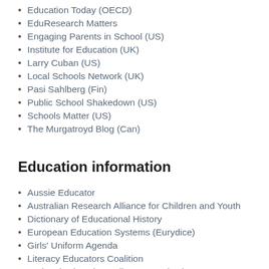Education Today (OECD)
EduResearch Matters
Engaging Parents in School (US)
Institute for Education (UK)
Larry Cuban (US)
Local Schools Network (UK)
Pasi Sahlberg (Fin)
Public School Shakedown (US)
Schools Matter (US)
The Murgatroyd Blog (Can)
Education information
Aussie Educator
Australian Research Alliance for Children and Youth
Dictionary of Educational History
European Education Systems (Eurydice)
Girls' Uniform Agenda
Literacy Educators Coalition
National Education Policy Center (US)